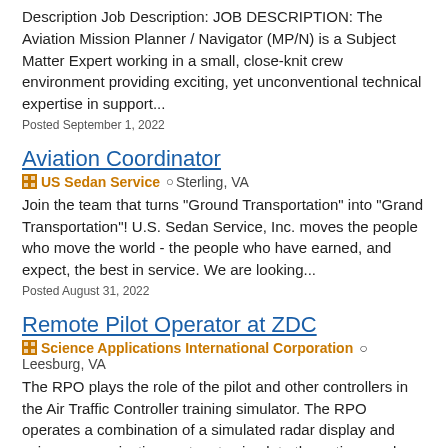Description Job Description: JOB DESCRIPTION: The Aviation Mission Planner / Navigator (MP/N) is a Subject Matter Expert working in a small, close-knit crew environment providing exciting, yet unconventional technical expertise in support...
Posted September 1, 2022
Aviation Coordinator
US Sedan Service   Sterling, VA
Join the team that turns "Ground Transportation" into "Grand Transportation"! U.S. Sedan Service, Inc. moves the people who move the world - the people who have earned, and expect, the best in service. We are looking...
Posted August 31, 2022
Remote Pilot Operator at ZDC
Science Applications International Corporation   Leesburg, VA
The RPO plays the role of the pilot and other controllers in the Air Traffic Controller training simulator. The RPO operates a combination of a simulated radar display and voice communication system to simulate the actions and